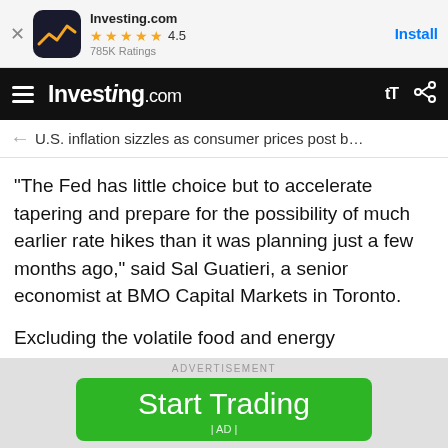[Figure (screenshot): Investing.com app install banner with icon, 4.5 star rating (785K Ratings), and Install button]
Investing.com
U.S. inflation sizzles as consumer prices post b…
"The Fed has little choice but to accelerate tapering and prepare for the possibility of much earlier rate hikes than it was planning just a few months ago," said Sal Guatieri, a senior economist at BMO Capital Markets in Toronto.
Excluding the volatile food and energy components, the CPI rose 0.5% last month after gaining 0.6% in October. The so-called core CPI was supported by rents, with
ADVERTISEMENT
[Figure (screenshot): Green Start Trading advertisement button with | AD | label]